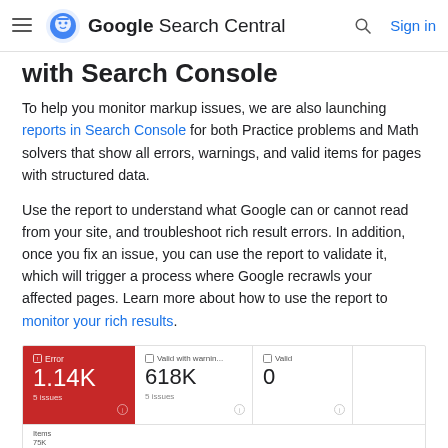Google Search Central  Sign in
with Search Console
To help you monitor markup issues, we are also launching reports in Search Console for both Practice problems and Math solvers that show all errors, warnings, and valid items for pages with structured data.
Use the report to understand what Google can or cannot read from your site, and troubleshoot rich result errors. In addition, once you fix an issue, you can use the report to validate it, which will trigger a process where Google recrawls your affected pages. Learn more about how to use the report to monitor your rich results.
[Figure (screenshot): Google Search Console rich results report screenshot showing Error: 1.14K (5 issues), Valid with warnings: 618K (5 issues), Valid: 0, and a bar chart area below with Items/75K label]